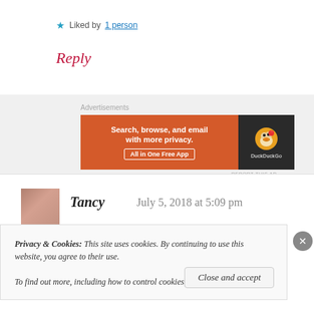★ Liked by 1 person
Reply
Advertisements
[Figure (screenshot): DuckDuckGo advertisement banner: orange section with text 'Search, browse, and email with more privacy. All in One Free App' and dark section with DuckDuckGo duck logo and name.]
REPORT THIS AD
Tancy   July 5, 2018 at 5:09 pm
Privacy & Cookies: This site uses cookies. By continuing to use this website, you agree to their use.
To find out more, including how to control cookies, see here: Cookie Policy
Close and accept